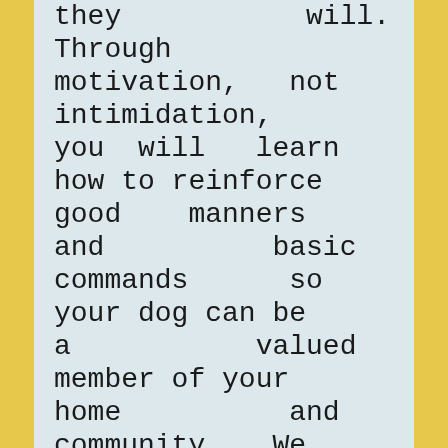they will. Through motivation, not intimidation, you will learn how to reinforce good manners and basic commands so your dog can be a valued member of your home and community. We also take the opportunity during class to educate pet owners on their responsibilities to their dog, which includes